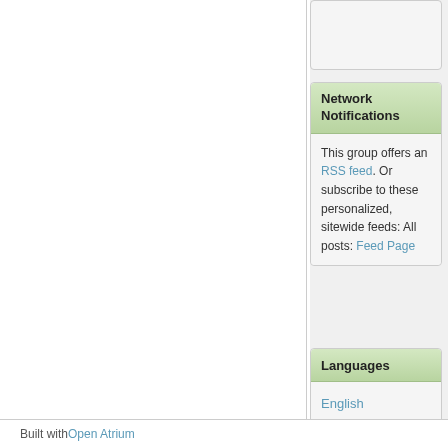This group offers an RSS feed. Or subscribe to these personalized, sitewide feeds: All posts: Feed Page
Network Notifications
Languages
English
Español
Built with Open Atrium